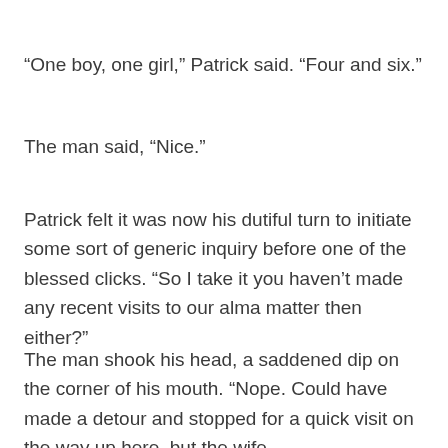“One boy, one girl,” Patrick said. “Four and six.”
The man said, “Nice.”
Patrick felt it was now his dutiful turn to initiate some sort of generic inquiry before one of the blessed clicks. “So I take it you haven’t made any recent visits to our alma matter then either?”
The man shook his head, a saddened dip on the corner of his mouth. “Nope. Could have made a detour and stopped for a quick visit on the way up here, but the wife